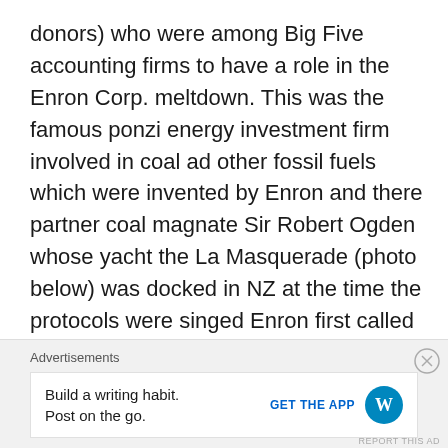donors) who were among Big Five accounting firms to have a role in the Enron Corp. meltdown. This was the famous ponzi energy investment firm involved in coal ad other fossil fuels which were invented by Enron and there partner coal magnate Sir Robert Ogden whose yacht the La Masquerade (photo below) was docked in NZ at the time the protocols were singed Enron first called carbon credits ‘weather trading” and pitched it as a derivatives market;
Advertisements
Build a writing habit. Post on the go. GET THE APP